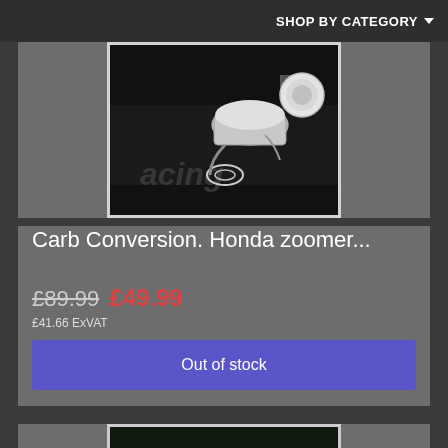SHOP BY CATEGORY
[Figure (photo): Carburetor conversion kit parts for Honda Zoomer, chrome components on black racing background]
Carb Conversion. Honda zoomer...
£89.99 £49.99
£41.66 ExVAT
Out of stock
[Figure (photo): Second product image partially visible, showing metal parts on racing background]